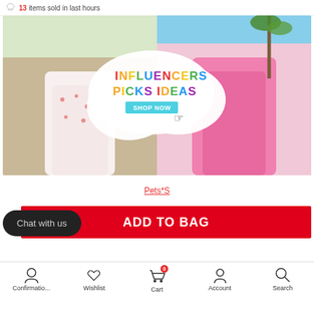13 items sold in last hours
[Figure (photo): Promotional banner showing two photos of mothers and daughters wearing matching outfits. Left side shows woman and child in floral dresses in a garden setting. Right side shows woman and child in pink dresses near palm trees. Overlay text reads 'INFLUENCERS PICKS IDEAS' with a 'SHOP NOW' button.]
Pets*S
ADD TO BAG
Chat with us
Confirmatio...  Wishlist  Cart  Account  Search